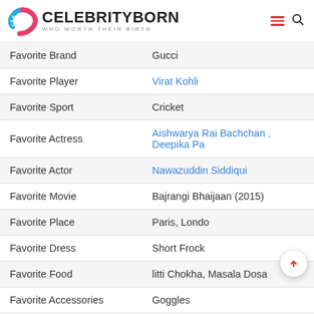CELEBRITYBORN — WHO WORTH THEIR BIRTH
|  |  |
| --- | --- |
| Favorite Brand | Gucci |
| Favorite Player | Virat Kohli |
| Favorite Sport | Cricket |
| Favorite Actress | Aishwarya Rai Bachchan , Deepika Pa... |
| Favorite Actor | Nawazuddin Siddiqui |
| Favorite Movie | Bajrangi Bhaijaan (2015) |
| Favorite Place | Paris, Londo |
| Favorite Dress | Short Frock |
| Favorite Food | litti Chokha, Masala Dosa |
| Favorite Accessories | Goggles |